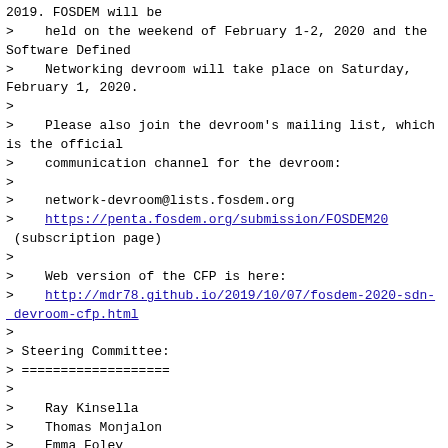2019. FOSDEM will be
>    held on the weekend of February 1-2, 2020 and the Software Defined
>    Networking devroom will take place on Saturday, February 1, 2020.
>
>    Please also join the devroom's mailing list, which is the official
>    communication channel for the devroom:
>
>    network-devroom@lists.fosdem.org
>    https://penta.fosdem.org/submission/FOSDEM20 (subscription page)
>
>    Web version of the CFP is here:
>    http://mdr78.github.io/2019/10/07/fosdem-2020-sdn-devroom-cfp.html
>
> Steering Committee:
> ===================
>
>    Ray Kinsella
>    Thomas Monjalon
>    Emma Foley
>    Chris Price
>    Charles Eckel
>
>
>
>
>